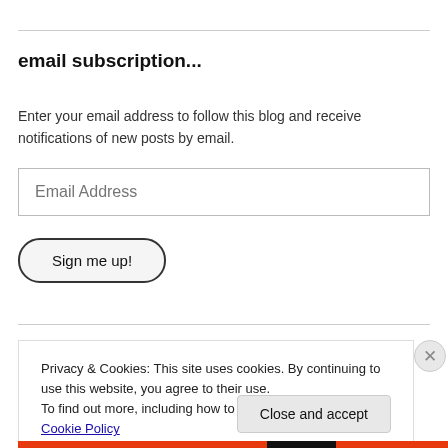email subscription...
Enter your email address to follow this blog and receive notifications of new posts by email.
Email Address
Sign me up!
Privacy & Cookies: This site uses cookies. By continuing to use this website, you agree to their use.
To find out more, including how to control cookies, see here: Cookie Policy
Close and accept